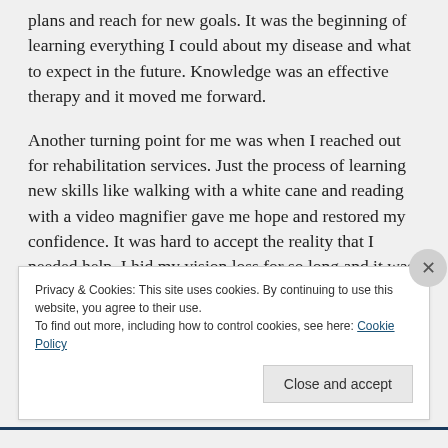plans and reach for new goals. It was the beginning of learning everything I could about my disease and what to expect in the future. Knowledge was an effective therapy and it moved me forward.
Another turning point for me was when I reached out for rehabilitation services. Just the process of learning new skills like walking with a white cane and reading with a video magnifier gave me hope and restored my confidence. It was hard to accept the reality that I needed help. I hid my vision loss for so long and it was
Privacy & Cookies: This site uses cookies. By continuing to use this website, you agree to their use.
To find out more, including how to control cookies, see here: Cookie Policy